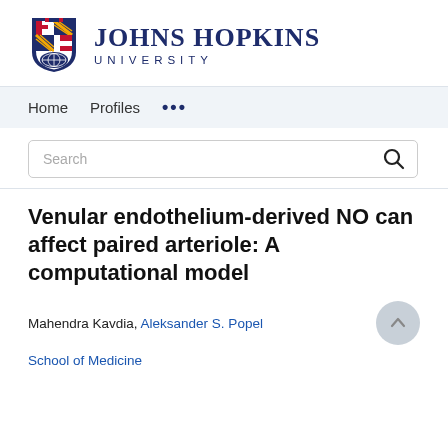[Figure (logo): Johns Hopkins University logo with shield and text]
Home   Profiles   ...
Search
Venular endothelium-derived NO can affect paired arteriole: A computational model
Mahendra Kavdia, Aleksander S. Popel
School of Medicine